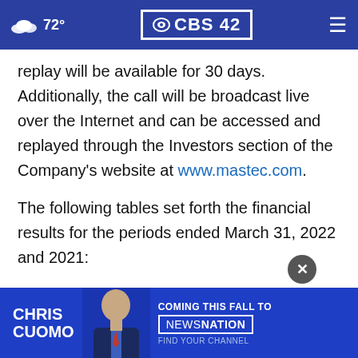72° CBS42
replay will be available for 30 days. Additionally, the call will be broadcast live over the Internet and can be accessed and replayed through the Investors section of the Company's website at www.mastec.com.
The following tables set forth the financial results for the periods ended March 31, 2022 and 2021:
[Figure (screenshot): Advertisement banner for Chris Cuomo Coming This Fall to NewsNation with a photo of Chris Cuomo]